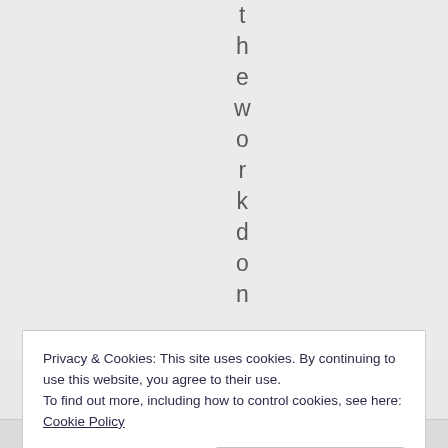t h e w o r k d o n
Privacy & Cookies: This site uses cookies. By continuing to use this website, you agree to their use.
To find out more, including how to control cookies, see here: Cookie Policy
Close and accept
l